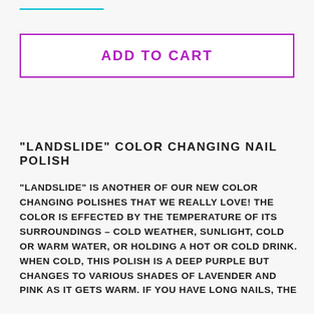ADD TO CART
"LANDSLIDE" COLOR CHANGING NAIL POLISH
"Landslide" is another of our new color changing polishes that we really love! The color is effected by the temperature of its surroundings – cold weather, sunlight, cold or warm water, or holding a hot or cold drink. When cold, this polish is a deep purple but changes to various shades of lavender and pink as it gets warm. If you have long nails, the